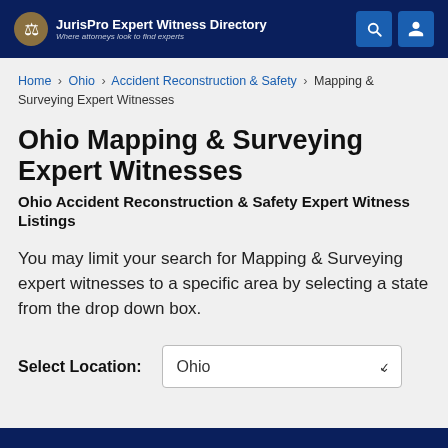JurisPro Expert Witness Directory — Where attorneys look to find experts
Home › Ohio › Accident Reconstruction & Safety › Mapping & Surveying Expert Witnesses
Ohio Mapping & Surveying Expert Witnesses
Ohio Accident Reconstruction & Safety Expert Witness Listings
You may limit your search for Mapping & Surveying expert witnesses to a specific area by selecting a state from the drop down box.
Select Location: Ohio